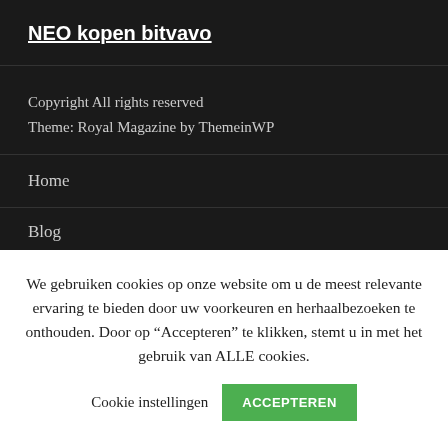NEO kopen bitvavo
Copyright All rights reserved
Theme: Royal Magazine by ThemeinWP
Home
Blog
We gebruiken cookies op onze website om u de meest relevante ervaring te bieden door uw voorkeuren en herhaalbezoeken te onthouden. Door op “Accepteren” te klikken, stemt u in met het gebruik van ALLE cookies.
Cookie instellingen  ACCEPTEREN